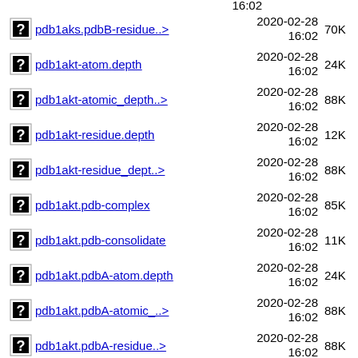pdb1aks.pdbB-residue..> 2020-02-28 16:02 70K
pdb1akt-atom.depth 2020-02-28 16:02 24K
pdb1akt-atomic_depth..> 2020-02-28 16:02 88K
pdb1akt-residue.depth 2020-02-28 16:02 12K
pdb1akt-residue_dept..> 2020-02-28 16:02 88K
pdb1akt.pdb-complex 2020-02-28 16:02 85K
pdb1akt.pdb-consolidate 2020-02-28 16:02 11K
pdb1akt.pdbA-atom.depth 2020-02-28 16:02 24K
pdb1akt.pdbA-atomic_..> 2020-02-28 16:02 88K
pdb1akt.pdbA-residue..> 2020-02-28 16:02 88K
pdb1aku-atom.depth 2020-02-28 16:02 24K